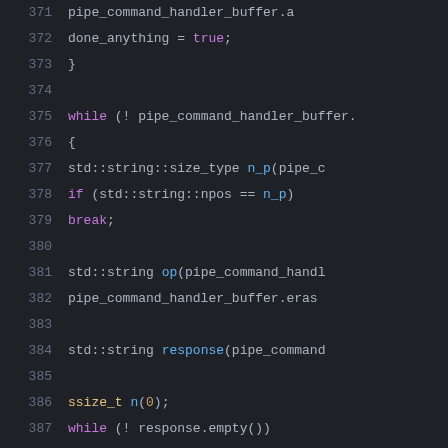[Figure (screenshot): Code editor screenshot showing C++ source code lines 371-397, dark theme with syntax highlighting. Features while loops, std::string operations, write calls, and error handling with ProcessError.]